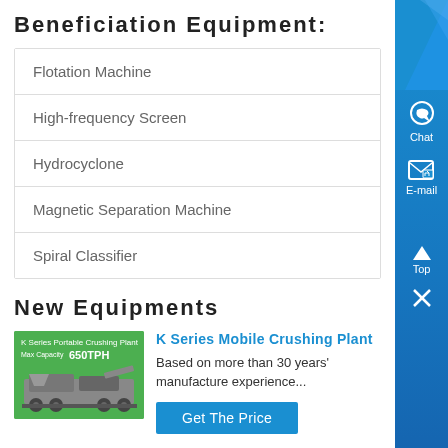Beneficiation Equipment:
Flotation Machine
High-frequency Screen
Hydrocyclone
Magnetic Separation Machine
Spiral Classifier
New Equipments
[Figure (photo): K Series Portable Crushing Plant image showing mobile crushing equipment on a trailer, green background with text 'K Series Portable Crushing Plant Max Capacity 650TPH']
K Series Mobile Crushing Plant
Based on more than 30 years' manufacture experience...
Get The Price